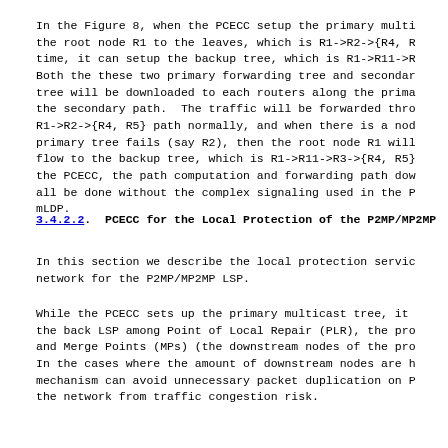In the Figure 8, when the PCECC setup the primary multi the root node R1 to the leaves, which is R1->R2->{R4, R time, it can setup the backup tree, which is R1->R11->R Both the these two primary forwarding tree and secondar tree will be downloaded to each routers along the prima the secondary path.  The traffic will be forwarded thro R1->R2->{R4, R5} path normally, and when there is a nod primary tree fails (say R2), then the root node R1 will flow to the backup tree, which is R1->R11->R3->{R4, R5} the PCECC, the path computation and forwarding path dow all be done without the complex signaling used in the P mLDP.
3.4.2.2.  PCECC for the Local Protection of the P2MP/MP2MP
In this section we describe the local protection servic network for the P2MP/MP2MP LSP.
While the PCECC sets up the primary multicast tree, it the back LSP among Point of Local Repair (PLR), the pro and Merge Points (MPs) (the downstream nodes of the pro In the cases where the amount of downstream nodes are h mechanism can avoid unnecessary packet duplication on P the network from traffic congestion risk.